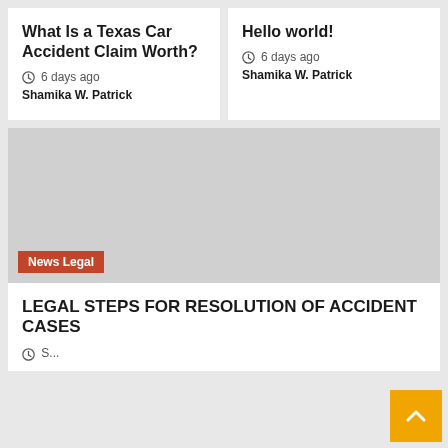What Is a Texas Car Accident Claim Worth?
6 days ago  Shamika W. Patrick
Hello world!
6 days ago  Shamika W. Patrick
[Figure (photo): Gray placeholder image with 'News Legal' tag overlay at bottom left]
LEGAL STEPS FOR RESOLUTION OF ACCIDENT CASES
(partial author/date line cut off)